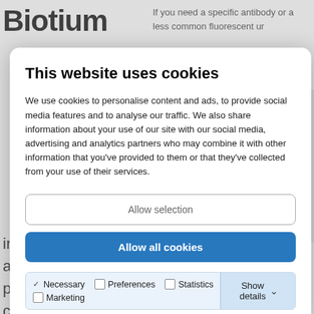Biotium
If you need a specific antibody or a less common fluorescent ur
This website uses cookies
We use cookies to personalise content and ads, to provide social media features and to analyse our traffic. We also share information about your use of our site with our social media, advertising and analytics partners who may combine it with other information that you've provided to them or that they've collected from your use of their services.
Allow selection
Allow all cookies
Necessary  Preferences  Statistics  Marketing  Show details
in flow cytometry has opened up a diversity of new options for phenotypic and functional characterisation of cells in both research and clinical diagnosis. Indeed, definitive